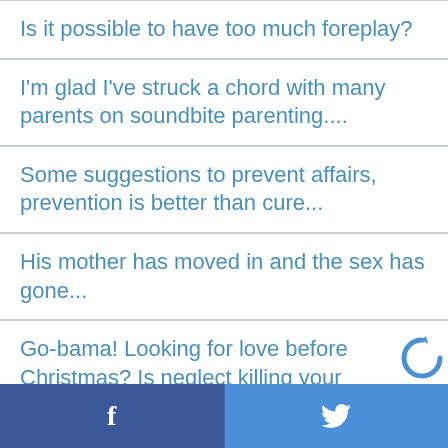Is it possible to have too much foreplay?
I'm glad I've struck a chord with many parents on soundbite parenting....
Some suggestions to prevent affairs, prevention is better than cure...
His mother has moved in and the sex has gone...
Go-bama! Looking for love before Christmas? Is neglect killing your relationship?
More on soundbite parenting -are you one?
Some surprising types of bullying in office...
f  [twitter bird]